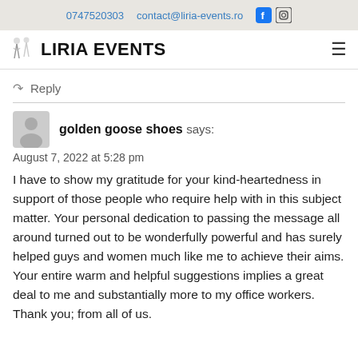0747520303   contact@liria-events.ro
LIRIA EVENTS
Reply
golden goose shoes says:
August 7, 2022 at 5:28 pm

I have to show my gratitude for your kind-heartedness in support of those people who require help with in this subject matter. Your personal dedication to passing the message all around turned out to be wonderfully powerful and has surely helped guys and women much like me to achieve their aims. Your entire warm and helpful suggestions implies a great deal to me and substantially more to my office workers. Thank you; from all of us.